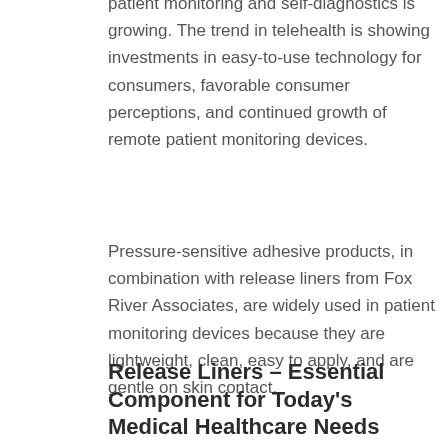patient monitoring and self-diagnostics is growing. The trend in telehealth is showing investments in easy-to-use technology for consumers, favorable consumer perceptions, and continued growth of remote patient monitoring devices.
Pressure-sensitive adhesive products, in combination with release liners from Fox River Associates, are widely used in patient monitoring devices because they are lightweight, clean, easy to apply, and are gentle on skin contact.
Release Liners – Essential Component for Today's Medical Healthcare Needs